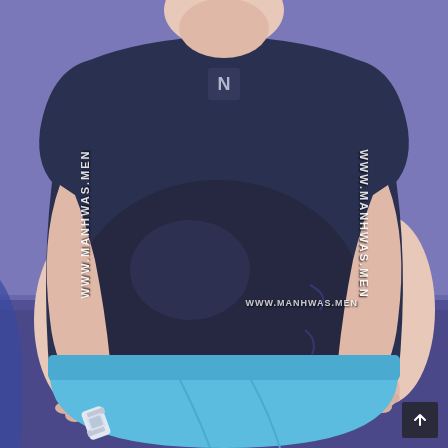[Figure (illustration): Anime/manhwa style illustration of an overweight male character wearing a dark navy compression t-shirt with 'N' logo on chest and light blue shorts, standing against a blue background. The character has a large belly protruding from the shirt, arms at sides with one hand near hip and the other hanging down. A fallen can/bottle is visible near the lower left. Watermarks reading 'WWW.MANHWAS.MEN' appear on the left side (rotated), right side (rotated), and center-bottom of the image.]